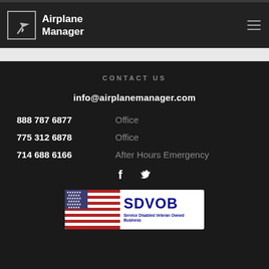Airplane Manager
CONTACT US
info@airplanemanager.com
888 787 6877  Office
775 312 6878  Office
714 688 6166  After Hours Emergency
[Figure (logo): SDVOB - Service Disabled Veteran Owned Business badge with American flag]